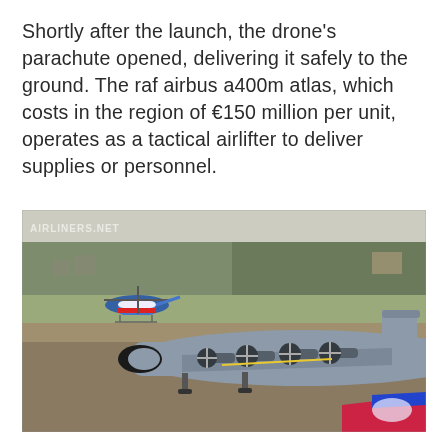Shortly after the launch, the drone's parachute opened, delivering it safely to the ground. The raf airbus a400m atlas, which costs in the region of €150 million per unit, operates as a tactical airlifter to deliver supplies or personnel.
[Figure (photo): Photograph of an Airbus A400M Atlas military transport aircraft on a runway tarmac, with a helicopter (blue, white and red livery) flying in the background to the left, and the nose of a red/blue jet aircraft visible at the bottom right. Trees and buildings visible in the background. Watermark 'AIRLINERS.NET' in top-left corner of image.]